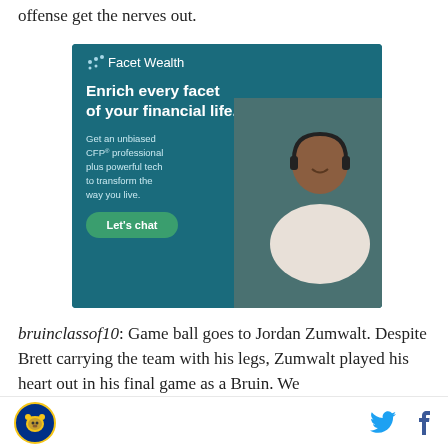offense get the nerves out.
[Figure (other): Facet Wealth advertisement with teal background. Shows logo 'Facet Wealth', headline 'Enrich every facet of your financial life.', body text 'Get an unbiased CFP® professional plus powerful tech to transform the way you live.', green button 'Let's chat', and photo of smiling woman with headphones.]
bruinclassof10: Game ball goes to Jordan Zumwalt. Despite Brett carrying the team with his legs, Zumwalt played his heart out in his final game as a Bruin. We